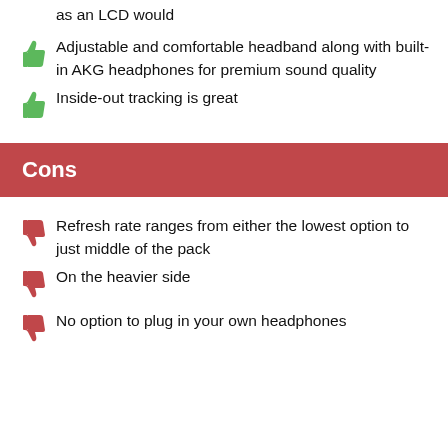as an LCD would
Adjustable and comfortable headband along with built-in AKG headphones for premium sound quality
Inside-out tracking is great
Cons
Refresh rate ranges from either the lowest option to just middle of the pack
On the heavier side
No option to plug in your own headphones